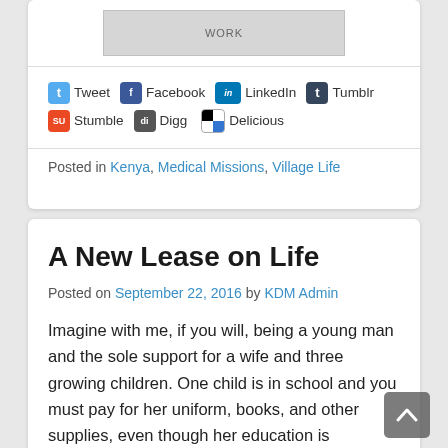[Figure (screenshot): Top portion of a web page showing a gray image placeholder with text 'WORK']
Tweet  Facebook  LinkedIn  Tumblr  Stumble  Digg  Delicious
Posted in Kenya, Medical Missions, Village Life
A New Lease on Life
Posted on September 22, 2016 by KDM Admin
Imagine with me, if you will, being a young man and the sole support for a wife and three growing children. One child is in school and you must pay for her uniform, books, and other supplies, even though her education is technically “free.” The other two children must be cared for and you are happy that your wife